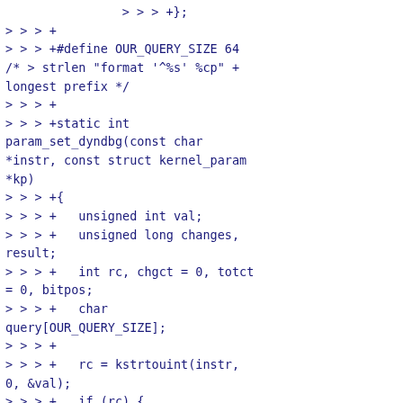> > > +};
> > > +
> > > +#define OUR_QUERY_SIZE 64
/* > strlen "format '^%s' %cp" + longest prefix */
> > > +
> > > +static int param_set_dyndbg(const char *instr, const struct kernel_param *kp)
> > > +{
> > > +   unsigned int val;
> > > +   unsigned long changes, result;
> > > +   int rc, chgct = 0, totct = 0, bitpos;
> > > +   char query[OUR_QUERY_SIZE];
> > > +
> > > +   rc = kstrtouint(instr, 0, &val);
> > > +   if (rc) {
> > > +           pr_err("%s: failed\n", __func__);
> > > +           return -EINVAL;
> > > +   }
> > > +   result = val;
> > > +   changes = result ^ __drm_debug;
> > > +